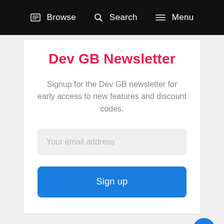Browse  Search  Menu
Dev GB Newsletter
Signup for the Dev GB newsletter for early access to new features and discount codes.
Your email address
Sign up
CATEGORIES